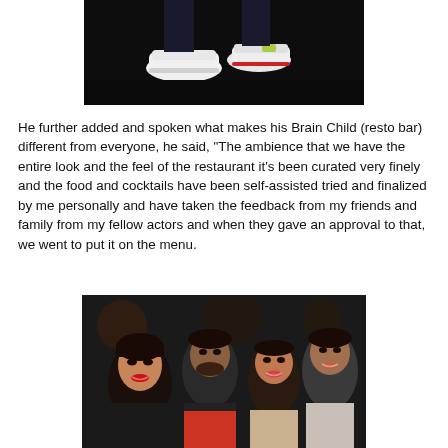[Figure (photo): Dark photo showing white sneakers/shoes from above against a dark background]
He further added and spoken what makes his Brain Child (resto bar) different from everyone, he said, "The ambience that we have the entire look and the feel of the restaurant it's been curated very finely and the food and cocktails have been self-assisted tried and finalized by me personally and have taken the feedback from my friends and family from my fellow actors and when they gave an approval to that, we went to put it on the menu.
[Figure (photo): Group photo of four people (two women and two men) smiling at an indoor event, dark background]